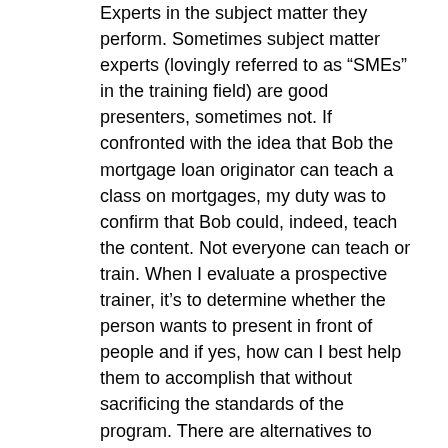Experts in the subject matter they perform. Sometimes subject matter experts (lovingly referred to as “SMEs” in the training field) are good presenters, sometimes not. If confronted with the idea that Bob the mortgage loan originator can teach a class on mortgages, my duty was to confirm that Bob could, indeed, teach the content. Not everyone can teach or train. When I evaluate a prospective trainer, it’s to determine whether the person wants to present in front of people and if yes, how can I best help them to accomplish that without sacrificing the standards of the program. There are alternatives to getting the material into the hands of learners such as interviews, podcasts, videos, and articles.
Give them a handout. Somehow, having a handout legitimizes the training class. It should have as much information on it as possible so that when someone leaves the class with the handout, they will be able to remember the information presented. Such handouts, in